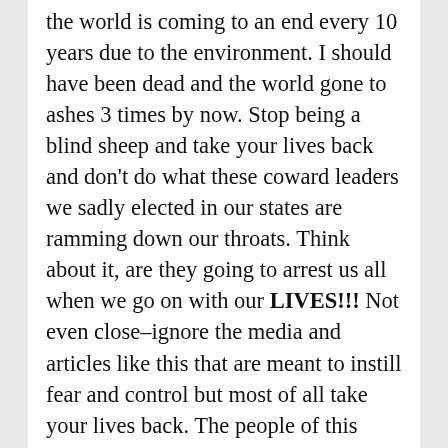the world is coming to an end every 10 years due to the environment. I should have been dead and the world gone to ashes 3 times by now. Stop being a blind sheep and take your lives back and don't do what these coward leaders we sadly elected in our states are ramming down our throats. Think about it, are they going to arrest us all when we go on with our LIVES!!! Not even close–ignore the media and articles like this that are meant to instill fear and control but most of all take your lives back. The people of this country only follow laws that we choose to obey otherwise go right ahead and arrest millions of people and see how that works for you. The hell with the media,